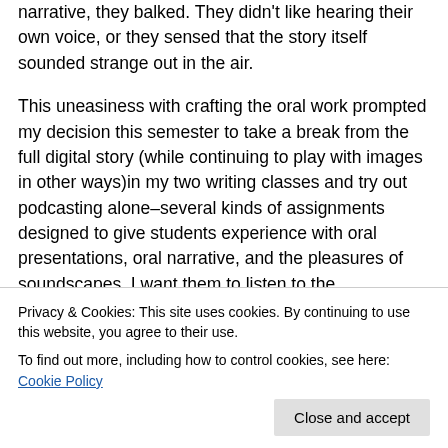narrative, they balked. They didn't like hearing their own voice, or they sensed that the story itself sounded strange out in the air.
This uneasiness with crafting the oral work prompted my decision this semester to take a break from the full digital story (while continuing to play with images in other ways)in my two writing classes and try out podcasting alone–several kinds of assignments designed to give students experience with oral presentations, oral narrative, and the pleasures of soundscapes. I want them to listen to the
Privacy & Cookies: This site uses cookies. By continuing to use this website, you agree to their use.
To find out more, including how to control cookies, see here: Cookie Policy
excerpt from an assigned reading and then commenting